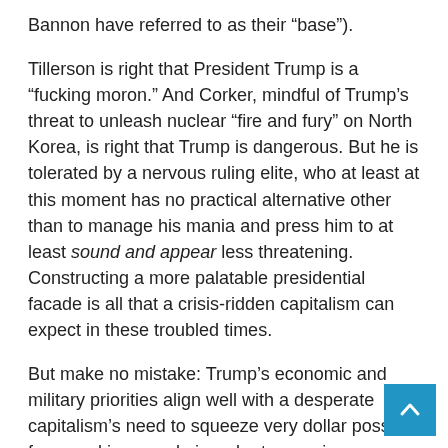Bannon have referred to as their “base”).
Tillerson is right that President Trump is a “fucking moron.” And Corker, mindful of Trump’s threat to unleash nuclear “fire and fury” on North Korea, is right that Trump is dangerous. But he is tolerated by a nervous ruling elite, who at least at this moment has no practical alternative other than to manage his mania and press him to at least sound and appear less threatening. Constructing a more palatable presidential facade is all that a crisis-ridden capitalism can expect in these troubled times.
But make no mistake: Trump’s economic and military priorities align well with a desperate capitalism’s need to squeeze very dollar possible from working people in order to remain competitive on the world’s ever-declining markets. Capitalist necessity trumps everything hum…
Trump’s approval rating has declined to a low of 32…